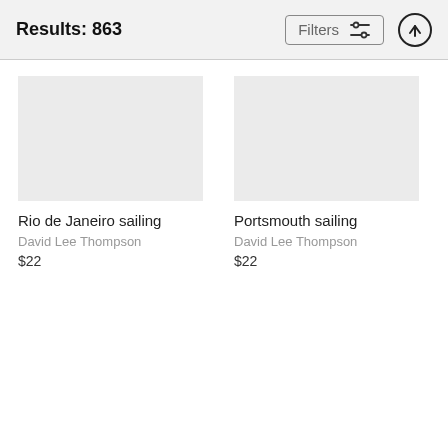Results: 863
Filters
Rio de Janeiro sailing
David Lee Thompson
$22
Portsmouth sailing
David Lee Thompson
$22